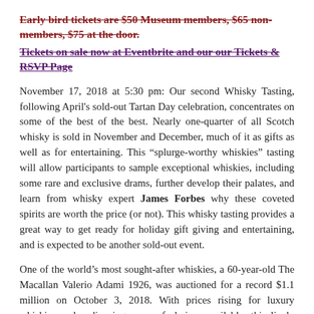Early bird tickets are $50 Museum members, $65 non-members, $75 at the door.
Tickets on sale now at Eventbrite and our our Tickets & RSVP Page
November 17, 2018 at 5:30 pm: Our second Whisky Tasting, following April's sold-out Tartan Day celebration, concentrates on some of the best of the best. Nearly one-quarter of all Scotch whisky is sold in November and December, much of it as gifts as well as for entertaining. This “splurge-worthy whiskies” tasting will allow participants to sample exceptional whiskies, including some rare and exclusive drams, further develop their palates, and learn from whisky expert James Forbes why these coveted spirits are worth the price (or not). This whisky tasting provides a great way to get ready for holiday gift giving and entertaining, and is expected to be another sold-out event.
One of the world’s most sought-after whiskies, a 60-year-old The Macallan Valerio Adami 1926, was auctioned for a record $1.1 million on October 3, 2018. With prices rising for luxury whiskies and a dizzying array of choices available, this lively curated tasting, including video, will demonstrate the factors to look for when splurging on whisky purchases, including how to evaluate